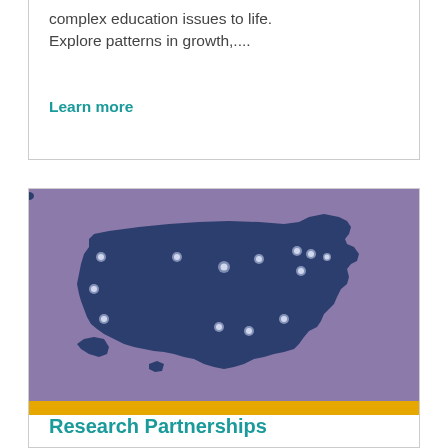complex education issues to life. Explore patterns in growth,....
Learn more
[Figure (map): Map of the United States with a purple background showing a dark navy silhouette of the US with glowing white dots marking various locations/research partnership sites across the country.]
Research Partnerships
Our collaborations with university researchers, school systems, address diverse education needs, data in...